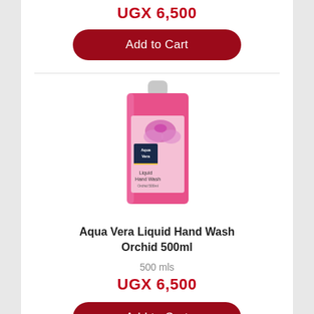UGX 6,500
Add to Cart
[Figure (photo): Pink bottle of Aqua Vera Liquid Hand Wash Orchid 500ml with white cap and floral label]
Aqua Vera Liquid Hand Wash Orchid 500ml
500 mls
UGX 6,500
Add to Cart